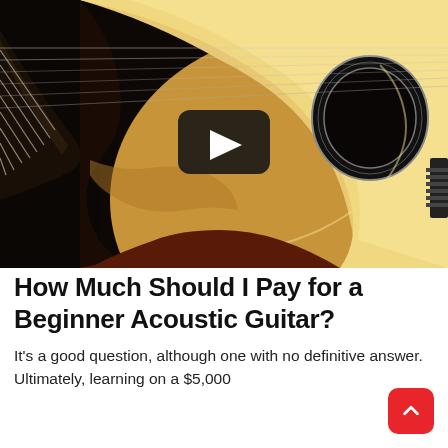[Figure (photo): Close-up photo of an acoustic guitar body showing the soundhole, neck/fretboard, and strings against a dark background, with a video play button overlay in the center.]
How Much Should I Pay for a Beginner Acoustic Guitar?
It's a good question, although one with no definitive answer. Ultimately, learning on a $5,000